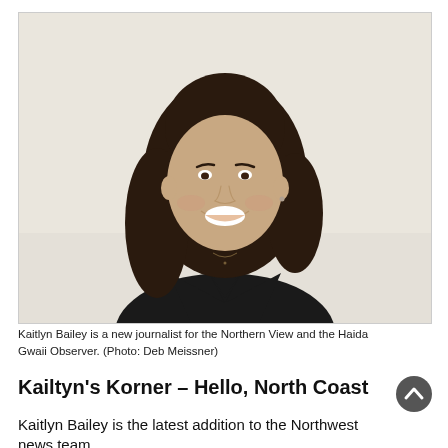[Figure (photo): Headshot of Kaitlyn Bailey, a young woman with shoulder-length dark brown hair, smiling, wearing a black top, against a light cream/off-white background.]
Kaitlyn Bailey is a new journalist for the Northern View and the Haida Gwaii Observer. (Photo: Deb Meissner)
Kailtyn's Korner – Hello, North Coast
Kaitlyn Bailey is the latest addition to the Northwest news team